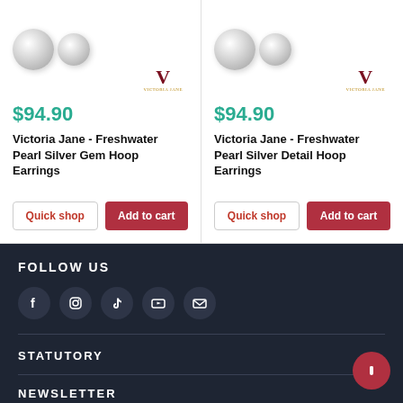[Figure (photo): Two pearl earrings product image with Victoria Jane brand logo, price $94.90, product name Victoria Jane - Freshwater Pearl Silver Gem Hoop Earrings, with Quick shop and Add to cart buttons]
[Figure (photo): Two pearl earrings product image with Victoria Jane brand logo, price $94.90, product name Victoria Jane - Freshwater Pearl Silver Detail Hoop Earrings, with Quick shop and Add to cart buttons]
FOLLOW US
Facebook, Instagram, TikTok, YouTube, Email social icons
STATUTORY
NEWSLETTER